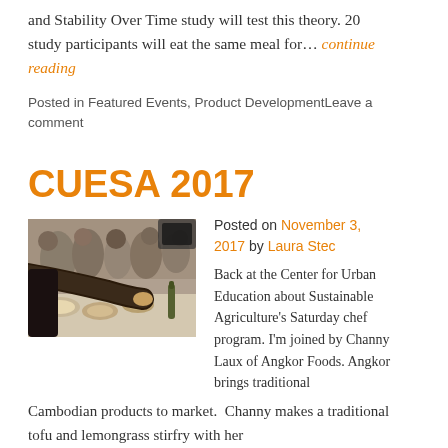and Stability Over Time study will test this theory. 20 study participants will eat the same meal for… continue reading
Posted in Featured Events, Product DevelopmentLeave a comment
CUESA 2017
[Figure (photo): Photo of people at a food event, someone serving food at a counter with crowd in background]
Posted on November 3, 2017 by Laura Stec
Back at the Center for Urban Education about Sustainable Agriculture's Saturday chef program. I'm joined by Channy Laux of Angkor Foods. Angkor brings traditional Cambodian products to market.  Channy makes a traditional tofu and lemongrass stirfry with her